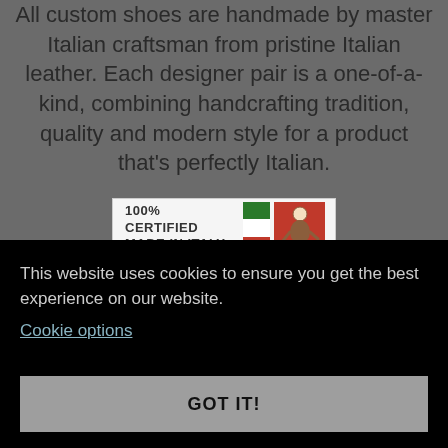All custom shoes are handmade by master Italian craftsman from pristine Italian leather. Each designer pair is a one-of-a-kind, combining handcrafting tradition, quality and modern style for a product that’s perfectly Italian.
[Figure (logo): 100% CERTIFIED MADE IN ITALY badge with Italian flag (green, white, red) and a cobbler/craftsman icon on a red background]
This website uses cookies to ensure you get the best experience on our website.
Cookie options
GOT IT!